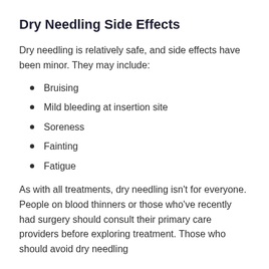Dry Needling Side Effects
Dry needling is relatively safe, and side effects have been minor. They may include:
Bruising
Mild bleeding at insertion site
Soreness
Fainting
Fatigue
As with all treatments, dry needling isn't for everyone. People on blood thinners or those who've recently had surgery should consult their primary care providers before exploring treatment. Those who should avoid dry needling